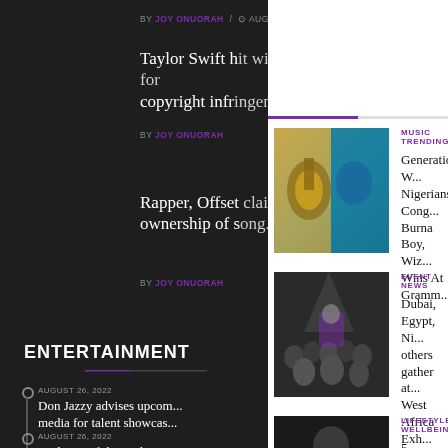BY JOY ONUORAH / AUGUST 26, 2022
Taylor Swift hit with new lawsuit for copyright infr...
BY JOY ONUORAH
Rapper, Offset claims ownership of s...
BY JOY ONUORAH
ENTERTAINMENT
AUGUST 26, 2022
Don Jazzy advises upcom... media for talent showcas...
AUGUST 26, 2022
Taylor Swift hit with new...
MUSIC TRENDING
Generational W... Nigerians Cong... Burna Boy, Wizk... Wins At Gramm...
[Figure (photo): Grammy award trophy with colorful background]
EVENT NEWS
Dubai, Egypt, Ni... others gather at... West Africa Exh...
[Figure (photo): Crowd at an event/conference]
LIFESTYLE WELLBEING
5 reasons breastf...
[Figure (photo): Woman in black dress, fashion/lifestyle photo]